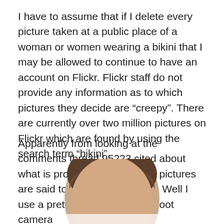I have to assume that if I delete every picture taken at a public place of a woman or women wearing a bikini that I may be allowed to continue to have an account on Flickr. Flickr staff do not provide any information as to which pictures they decide are “creepy”. There are currently over two million pictures on Flickr which are found by using the search term “bikini”.
Apparently from looking at the comments thread 95223 cited about what is problematic is that the pictures are said to be taken “secretly”. Well I use a pretty large point and shoot camera
[Figure (photo): Partial photo of a person's head/face from the top, showing brown hair, cropped at the bottom of the page.]